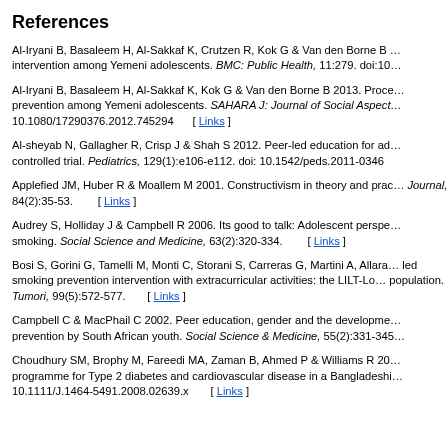References
Al-Iryani B, Basaleem H, Al-Sakkaf K, Crutzen R, Kok G & Van den Borne B … intervention among Yemeni adolescents. BMC: Public Health, 11:279. doi:10…
Al-Iryani B, Basaleem H, Al-Sakkaf K, Kok G & Van den Borne B 2013. Proce… prevention among Yemeni adolescents. SAHARA J: Journal of Social Aspect… 10.1080/17290376.2012.745294  [ Links ]
Al-sheyab N, Gallagher R, Crisp J & Shah S 2012. Peer-led education for ad… controlled trial. Pediatrics, 129(1):e106-e112. doi: 10.1542/peds.2011-0346
Applefied JM, Huber R & Moallem M 2001. Constructivism in theory and prac… Journal, 84(2):35-53.   [ Links ]
Audrey S, Holliday J & Campbell R 2006. Its good to talk: Adolescent perspe… smoking. Social Science and Medicine, 63(2):320-334.   [ Links ]
Bosi S, Gorini G, Tamelli M, Monti C, Storani S, Carreras G, Martini A, Allara… led smoking prevention intervention with extracurricular activities: the LILT-Lo… population. Tumori, 99(5):572-577.  [ Links ]
Campbell C & MacPhail C 2002. Peer education, gender and the developme… prevention by South African youth. Social Science & Medicine, 55(2):331-345…
Choudhury SM, Brophy M, Fareedi MA, Zaman B, Ahmed P & Williams R 20… programme for Type 2 diabetes and cardiovascular disease in a Bangladeshi… 10.1111/J.1464-5491.2008.02639.x   [ Links ]